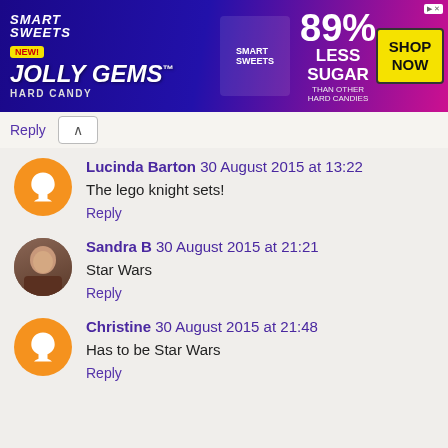[Figure (other): Smart Sweets Jolly Gems Hard Candy advertisement banner. Blue/pink gradient background. Text: NEW!, SMART SWEETS, JOLLY GEMS, HARD CANDY, 89% LESS SUGAR THAN OTHER HARD CANDIES, SHOP NOW button in yellow.]
Reply
Lucinda Barton 30 August 2015 at 13:22
The lego knight sets!
Reply
Sandra B 30 August 2015 at 21:21
Star Wars
Reply
Christine 30 August 2015 at 21:48
Has to be Star Wars
Reply